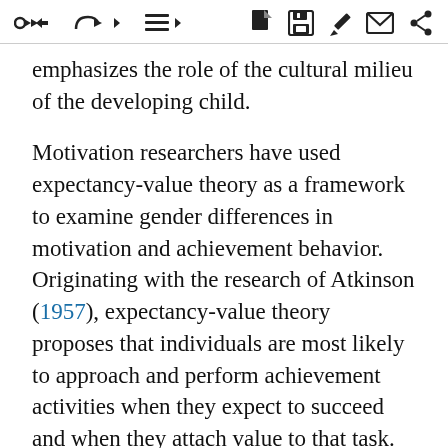Navigation toolbar icons
emphasizes the role of the cultural milieu of the developing child.
Motivation researchers have used expectancy-value theory as a framework to examine gender differences in motivation and achievement behavior. Originating with the research of Atkinson (1957), expectancy-value theory proposes that individuals are most likely to approach and perform achievement activities when they expect to succeed and when they attach value to that task. The Eccles et al. (1983) model has been applied to different achievement domains (mathematics, science, and sports) as well as career choices and trajectories of young adults. To date, research has identified gender-related differences in key components of